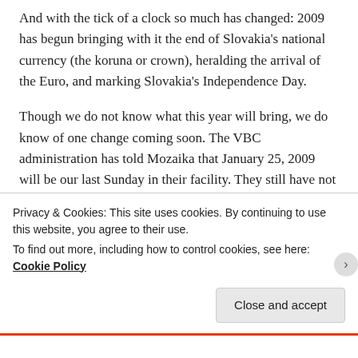And with the tick of a clock so much has changed: 2009 has begun bringing with it the end of Slovakia's national currency (the koruna or crown), heralding the arrival of the Euro, and marking Slovakia's Independence Day.
Though we do not know what this year will bring, we do know of one change coming soon. The VBC administration has told Mozaika that January 25, 2009 will be our last Sunday in their facility. They still have not turned on the heat so we use this rocket-man-
Privacy & Cookies: This site uses cookies. By continuing to use this website, you agree to their use.
To find out more, including how to control cookies, see here: Cookie Policy